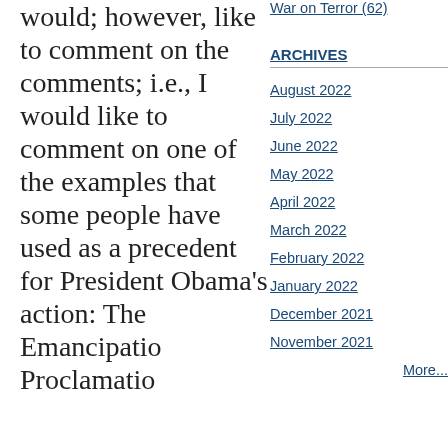would; however, like to comment on the comments; i.e., I would like to comment on one of the examples that some people have used as a precedent for President Obama's action: The Emancipatio Proclamatio
War on Terror (62)
ARCHIVES
August 2022
July 2022
June 2022
May 2022
April 2022
March 2022
February 2022
January 2022
December 2021
November 2021
More...